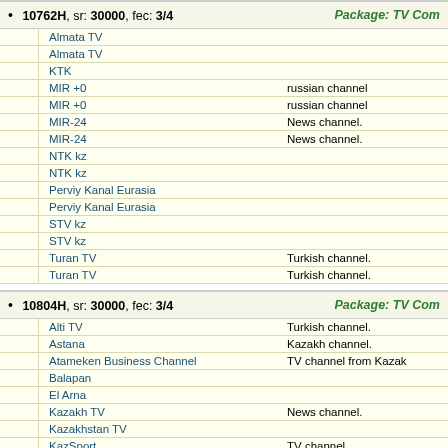10762H, sr: 30000, fec: 3/4 — Package: TV Com
|  | Channel | Description |
| --- | --- | --- |
|  | Almata TV |  |
|  | Almata TV |  |
|  | KTK |  |
|  | MIR +0 | russian channel |
|  | MIR +0 | russian channel |
|  | MIR-24 | News channel. |
|  | MIR-24 | News channel. |
|  | NTK kz |  |
|  | NTK kz |  |
|  | Perviy Kanal Eurasia |  |
|  | Perviy Kanal Eurasia |  |
|  | STV kz |  |
|  | STV kz |  |
|  | Turan TV | Turkish channel. |
|  | Turan TV | Turkish channel. |
10804H, sr: 30000, fec: 3/4 — Package: TV Com
|  | Channel | Description |
| --- | --- | --- |
|  | Alti TV | Turkish channel. |
|  | Astana | Kazakh channel. |
|  | Atameken Business Channel | TV channel from Kazak |
|  | Balapan |  |
|  | El Arna |  |
|  | Kazakh TV | News channel. |
|  | Kazakhstan TV |  |
|  | KazSport | TV channel. |
|  | Kha... | Kazakh channel. |